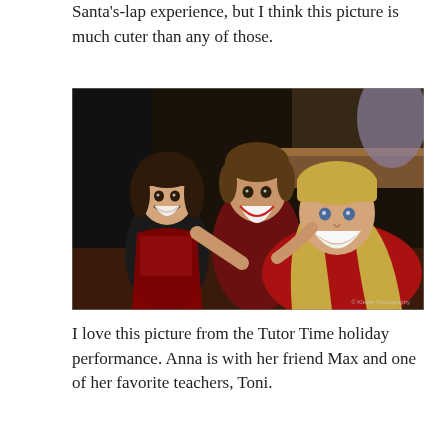Santa's-lap experience, but I think this picture is much cuter than any of those.
[Figure (photo): A smiling young girl with dark hair in a black and red outfit, a smiling boy in a dark red shirt, and a smiling blonde woman in red, hugging together indoors at what appears to be a holiday event. A small copyright watermark is visible in the bottom right corner.]
I love this picture from the Tutor Time holiday performance. Anna is with her friend Max and one of her favorite teachers, Toni.